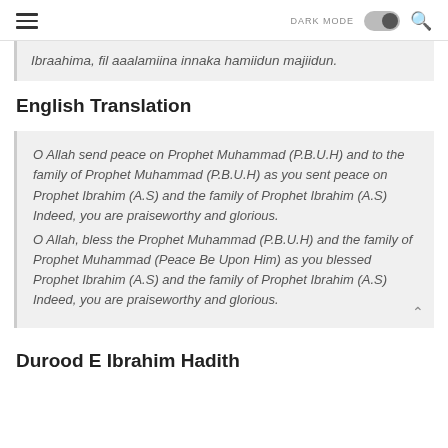DARK MODE [toggle] [search]
Ibraahima, fil aaalamiina innaka hamiidun majiidun.
English Translation
O Allah send peace on Prophet Muhammad (P.B.U.H) and to the family of Prophet Muhammad (P.B.U.H) as you sent peace on Prophet Ibrahim (A.S) and the family of Prophet Ibrahim (A.S) Indeed, you are praiseworthy and glorious.
O Allah, bless the Prophet Muhammad (P.B.U.H) and the family of Prophet Muhammad (Peace Be Upon Him) as you blessed Prophet Ibrahim (A.S) and the family of Prophet Ibrahim (A.S) Indeed, you are praiseworthy and glorious.
Durood E Ibrahim Hadith